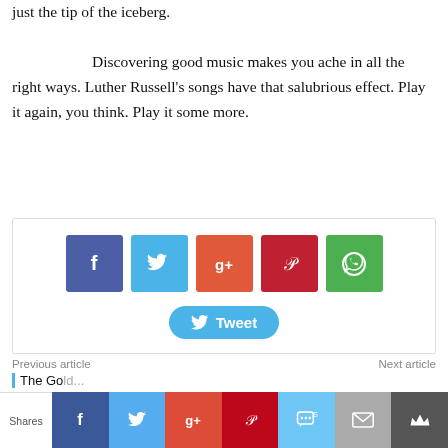just the tip of the iceberg.
Discovering good music makes you ache in all the right ways. Luther Russell's songs have that salubrious effect. Play it again, you think. Play it some more.
[Figure (infographic): Social sharing buttons: Facebook (blue-purple), Twitter (light blue), Google+ (orange-red), Pinterest (dark red), WhatsApp (green), and a Tweet button below]
Previous article
Next article
The Gold...
Shares | Facebook | Twitter | Google+ | Pinterest | SMS | Mail | Crown